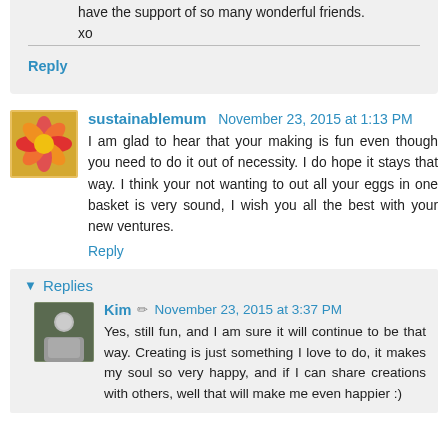have the support of so many wonderful friends. xo
Reply
sustainablemum  November 23, 2015 at 1:13 PM
I am glad to hear that your making is fun even though you need to do it out of necessity. I do hope it stays that way. I think your not wanting to out all your eggs in one basket is very sound, I wish you all the best with your new ventures.
Reply
Replies
Kim  November 23, 2015 at 3:37 PM
Yes, still fun, and I am sure it will continue to be that way. Creating is just something I love to do, it makes my soul so very happy, and if I can share creations with others, well that will make me even happier :)